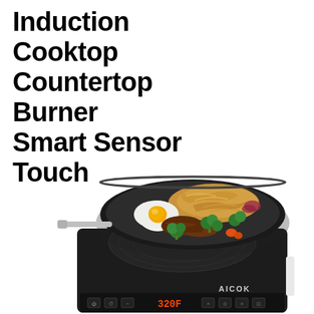Induction Cooktop Countertop Burner Smart Sensor Touch
[Figure (photo): Product photo of an AICOK induction cooktop countertop burner with a black wok/pan sitting on top. The pan contains cooked noodles/spaghetti, a fried egg, broccoli, meat, and red onions. The cooktop is black with a digital touch control panel showing 320F temperature display in orange/red LED digits and the AICOK brand name.]